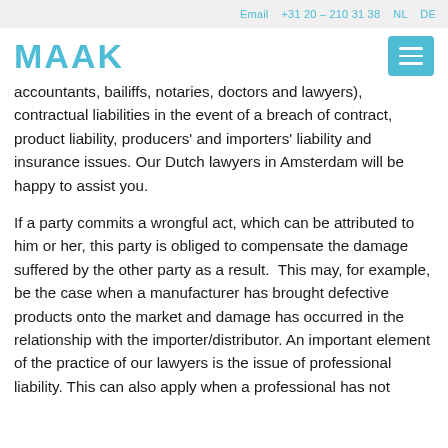Email  +31 20 – 210 31 38  NL  DE
MAAK
accountants, bailiffs, notaries, doctors and lawyers), contractual liabilities in the event of a breach of contract, product liability, producers' and importers' liability and insurance issues. Our Dutch lawyers in Amsterdam will be happy to assist you.
If a party commits a wrongful act, which can be attributed to him or her, this party is obliged to compensate the damage suffered by the other party as a result.  This may, for example, be the case when a manufacturer has brought defective products onto the market and damage has occurred in the relationship with the importer/distributor. An important element of the practice of our lawyers is the issue of professional liability. This can also apply when a professional has not